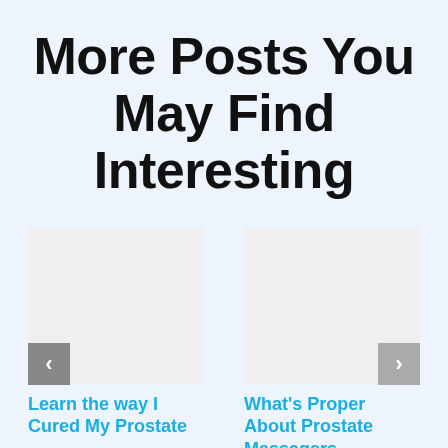More Posts You May Find Interesting
[Figure (illustration): Placeholder image card on the left for blog post about prostate]
Learn the way I Cured My Prostate
[Figure (illustration): Placeholder image card on the right for blog post about prostate massagers]
What's Proper About Prostate Massagers